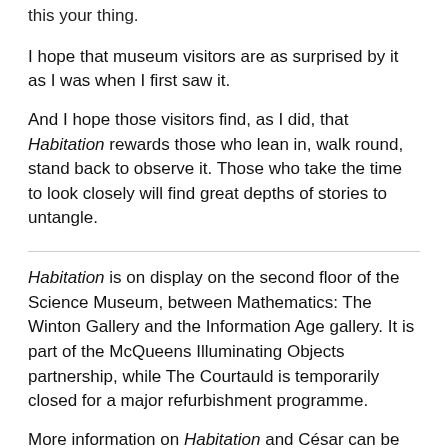this your thing.
I hope that museum visitors are as surprised by it as I was when I first saw it.
And I hope those visitors find, as I did, that Habitation rewards those who lean in, walk round, stand back to observe it. Those who take the time to look closely will find great depths of stories to untangle.
Habitation is on display on the second floor of the Science Museum, between Mathematics: The Winton Gallery and the Information Age gallery. It is part of the McQueens Illuminating Objects partnership, while The Courtauld is temporarily closed for a major refurbishment programme.
More information on Habitation and César can be found at https://sites.courtauld.ac.uk/illuminating-objects/habitation.